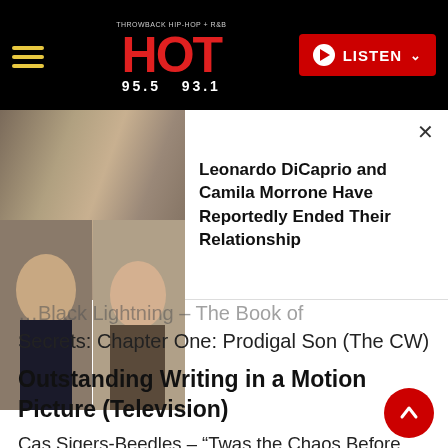HOT 95.5 93.1 — LISTEN
[Figure (photo): Notification banner showing photos of Leonardo DiCaprio and Camila Morrone side by side with headline text]
Secrets: Chapter One: Prodigal Son (The CW)
Outstanding Writing in a Motion Picture (Television)
Cas Sigers-Beedles – “Twas the Chaos Before Christmas” (BET)
Melissa Bustamante – “A Christmas Winter Song” (Lifetime)
Patrik-Ian Polk – “Being Mary Jane” (BET